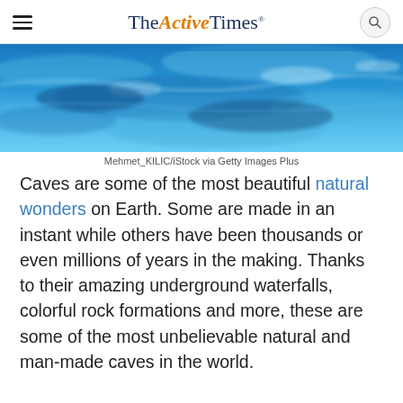TheActiveTimes
[Figure (photo): Close-up photo of blue water surface with light reflections, top portion of a cave or pool image]
Mehmet_KILIC/iStock via Getty Images Plus
Caves are some of the most beautiful natural wonders on Earth. Some are made in an instant while others have been thousands or even millions of years in the making. Thanks to their amazing underground waterfalls, colorful rock formations and more, these are some of the most unbelievable natural and man-made caves in the world.